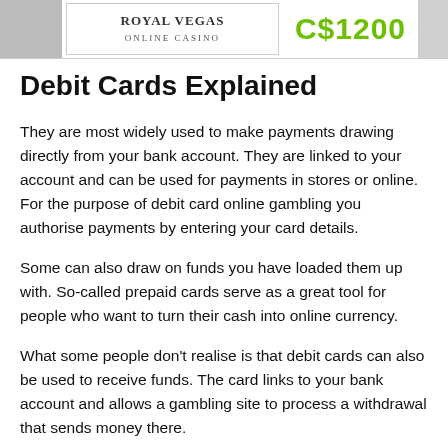[Figure (other): Top banner showing Royal Vegas Online Casino logo on the left and a green C$1200 bonus text on the right, with gray boxes on far left and far right edges]
Debit Cards Explained
They are most widely used to make payments drawing directly from your bank account. They are linked to your account and can be used for payments in stores or online. For the purpose of debit card online gambling you authorise payments by entering your card details.
Some can also draw on funds you have loaded them up with. So-called prepaid cards serve as a great tool for people who want to turn their cash into online currency.
What some people don't realise is that debit cards can also be used to receive funds. The card links to your bank account and allows a gambling site to process a withdrawal that sends money there.
How To Deposit At Gambling Sites